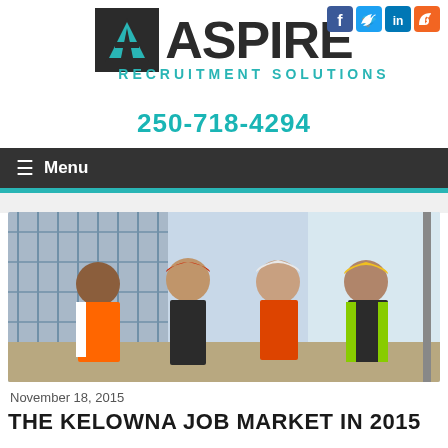[Figure (logo): Aspire Recruitment Solutions logo with teal A icon and dark text]
250-718-4294
[Figure (other): Social media icons: Facebook, Twitter, LinkedIn, RSS]
≡  Menu
[Figure (photo): Four construction workers in hard hats and safety vests standing in front of a construction site]
November 18, 2015
THE KELOWNA JOB MARKET IN 2015